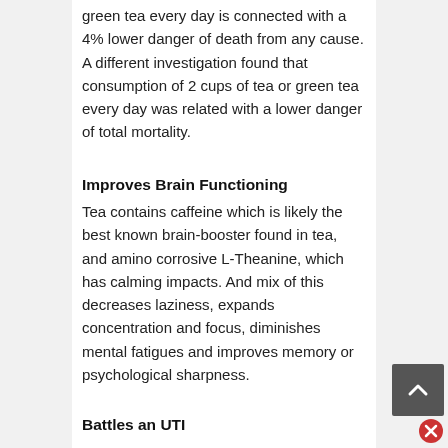green tea every day is connected with a 4% lower danger of death from any cause. A different investigation found that consumption of 2 cups of tea or green tea every day was related with a lower danger of total mortality.
Improves Brain Functioning
Tea contains caffeine which is likely the best known brain-booster found in tea, and amino corrosive L-Theanine, which has calming impacts. And mix of this decreases laziness, expands concentration and focus, diminishes mental fatigues and improves memory or psychological sharpness.
Battles an UTI